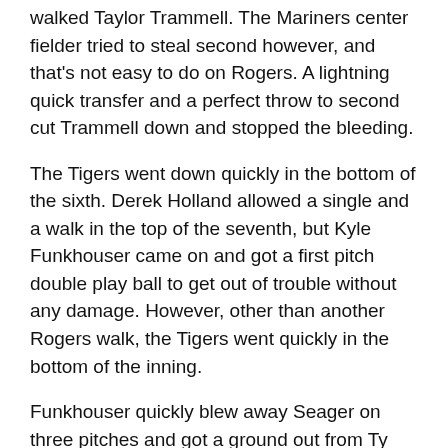walked Taylor Trammell. The Mariners center fielder tried to steal second however, and that's not easy to do on Rogers. A lightning quick transfer and a perfect throw to second cut Trammell down and stopped the bleeding.
The Tigers went down quickly in the bottom of the sixth. Derek Holland allowed a single and a walk in the top of the seventh, but Kyle Funkhouser came on and got a first pitch double play ball to get out of trouble without any damage. However, other than another Rogers walk, the Tigers went quickly in the bottom of the inning.
Funkhouser quickly blew away Seager on three pitches and got a ground out from Ty France to start the eighth. A.J. Hinch turned to Gregory Soto to get Jake Fraley, a lefty, for the final out. However, Jake Fraley...